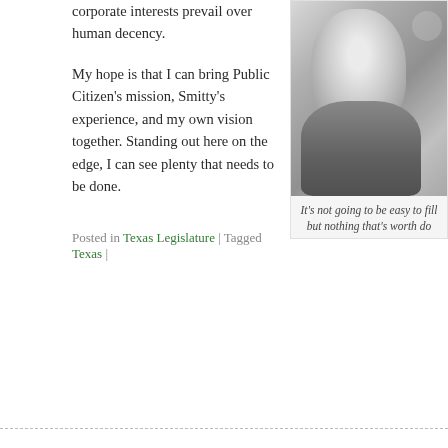corporate interests prevail over human decency.
My hope is that I can bring Public Citizen’s mission, Smitty’s experience, and my own vision together. Standing out here on the edge, I can see plenty that needs to be done.
[Figure (photo): Black and white portrait photo of a person, visible from collar upward, wearing a collared shirt]
It’s not going to be easy to fill ... but nothing that’s worth do...
Posted in Texas Legislature | Tagged Texas |